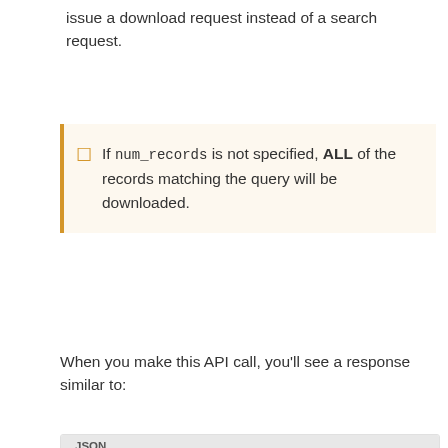issue a download request instead of a search request.
If num_records is not specified, ALL of the records matching the query will be downloaded.
When you make this API call, you'll see a response similar to:
JSON
{
    "id": 288,
    "results": [],
    "user_id": 15,
    "status": "running",
    "date_started": "2018-02-21 21:58:08.0",
    "num_downloaded": 0,
    "data_type": "people",
    "query": "jobTitle:CEO AND province:TX AN...
    "format": "json",